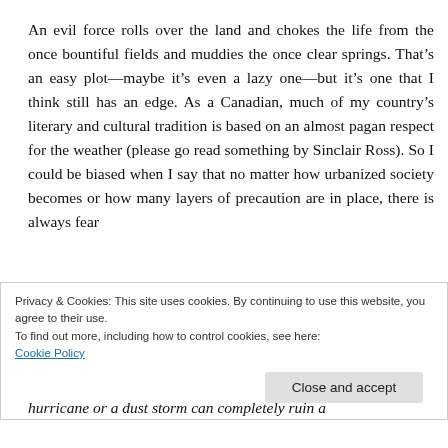An evil force rolls over the land and chokes the life from the once bountiful fields and muddies the once clear springs. That's an easy plot—maybe it's even a lazy one—but it's one that I think still has an edge. As a Canadian, much of my country's literary and cultural tradition is based on an almost pagan respect for the weather (please go read something by Sinclair Ross). So I could be biased when I say that no matter how urbanized society becomes or how many layers of precaution are in place, there is always fear
Privacy & Cookies: This site uses cookies. By continuing to use this website, you agree to their use.
To find out more, including how to control cookies, see here:
Cookie Policy
Close and accept
hurricane or a dust storm can completely ruin a